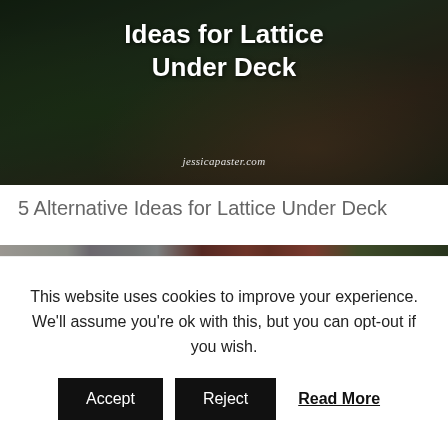[Figure (photo): Outdoor deck area with garden background and white chairs, dark overlay. Title text 'Ideas for Lattice Under Deck' displayed over image. Website watermark 'jessicapaster.com' at bottom.]
5 Alternative Ideas for Lattice Under Deck
[Figure (photo): Outdoor patio area with corrugated metal siding, wicker chairs and plants, red barn-style building on right, green foliage on far right.]
This website uses cookies to improve your experience. We'll assume you're ok with this, but you can opt-out if you wish.